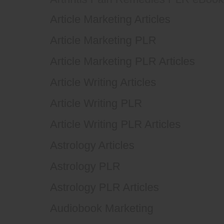Arthritis Pain Remedies PLR eBook
Article Marketing Articles
Article Marketing PLR
Article Marketing PLR Articles
Article Writing Articles
Article Writing PLR
Article Writing PLR Articles
Astrology Articles
Astrology PLR
Astrology PLR Articles
Audiobook Marketing
Audiobook Marketing eBook
Audiobook Marketing PLR
Audiobook Marketing PLR eBook
Authority Marketing
Authority Marketing eBook
Authority Marketing PLR